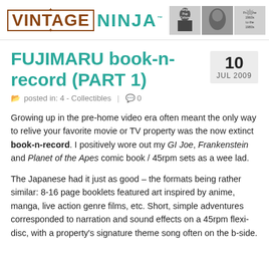[Figure (logo): Vintage Ninja logo with header images showing ninja pop culture, 1960s to 1980s theme]
FUJIMARU book-n-record (PART 1)
posted in: 4 - Collectibles | 0
Growing up in the pre-home video era often meant the only way to relive your favorite movie or TV property was the now extinct book-n-record. I positively wore out my GI Joe, Frankenstein and Planet of the Apes comic book / 45rpm sets as a wee lad.
The Japanese had it just as good – the formats being rather similar: 8-16 page booklets featured art inspired by anime, manga, live action genre films, etc. Short, simple adventures corresponded to narration and sound effects on a 45rpm flexi-disc, with a property's signature theme song often on the b-side.